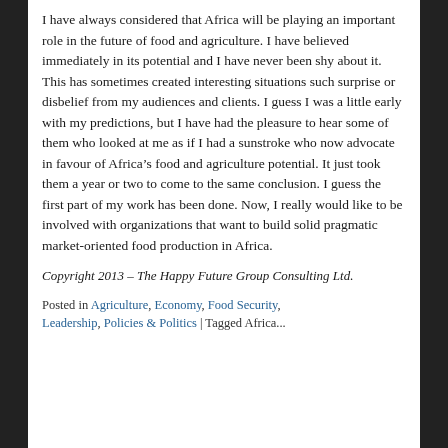I have always considered that Africa will be playing an important role in the future of food and agriculture. I have believed immediately in its potential and I have never been shy about it. This has sometimes created interesting situations such surprise or disbelief from my audiences and clients. I guess I was a little early with my predictions, but I have had the pleasure to hear some of them who looked at me as if I had a sunstroke who now advocate in favour of Africa’s food and agriculture potential. It just took them a year or two to come to the same conclusion. I guess the first part of my work has been done. Now, I really would like to be involved with organizations that want to build solid pragmatic market-oriented food production in Africa.
Copyright 2013 – The Happy Future Group Consulting Ltd.
Posted in Agriculture, Economy, Food Security, Leadership, Policies & Politics | Tagged Africa...